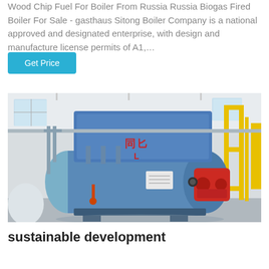Wood Chip Fuel For Boiler From Russia Russia Biogas Fired Boiler For Sale - gasthaus Sitong Boiler Company is a national approved and designated enterprise, with design and manufacture license permits of A1,...
[Figure (photo): Industrial boiler room showing a large blue horizontal fire-tube boiler with a red burner head, yellow structural supports and piping, in a white-walled factory facility.]
sustainable development